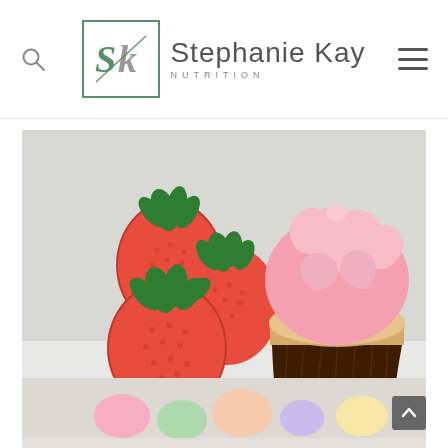Stephanie Kay Nutrition
[Figure (photo): Photo of fresh red strawberries on the left and a cupcake with pink frosting on the right, on a light gray/white surface]
Natural Sugar vs Added Sugar
[Figure (photo): Partial view of a second article card with colorful candy/sweets photo, cut off at bottom of page]